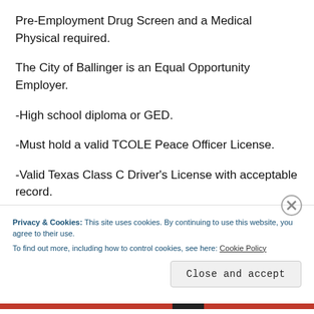Pre-Employment Drug Screen and a Medical Physical required.
The City of Ballinger is an Equal Opportunity Employer.
-High school diploma or GED.
-Must hold a valid TCOLE Peace Officer License.
-Valid Texas Class C Driver's License with acceptable record.
Privacy & Cookies: This site uses cookies. By continuing to use this website, you agree to their use. To find out more, including how to control cookies, see here: Cookie Policy
Close and accept